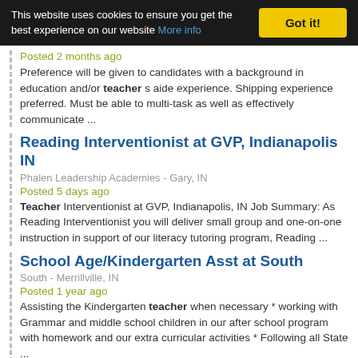This website uses cookies to ensure you get the best experience on our website More info Got it!
Posted 2 months ago
Preference will be given to candidates with a background in education and/or teacher s aide experience. Shipping experience preferred. Must be able to multi-task as well as effectively communicate ...
Reading Interventionist at GVP, Indianapolis IN
Phalen Leadership Academies - Gary, IN
Posted 5 days ago
Teacher Interventionist at GVP, Indianapolis, IN Job Summary: As Reading Interventionist you will deliver small group and one-on-one instruction in support of our literacy tutoring program, Reading ...
School Age/Kindergarten Asst at South
South - Merrillville, IN
Posted 1 year ago
Assisting the Kindergarten teacher when necessary * working with Grammar and middle school children in our after school program with homework and our extra curricular activities * Following all State ...
Tutor
Promising Futures, Inc. - Merrillville, IN
Posted 6 months ago
Previous experience in teaching, tutoring, or other related fields * Ability to build rapport with students * Sufficient knowledge of core subjects related to ...